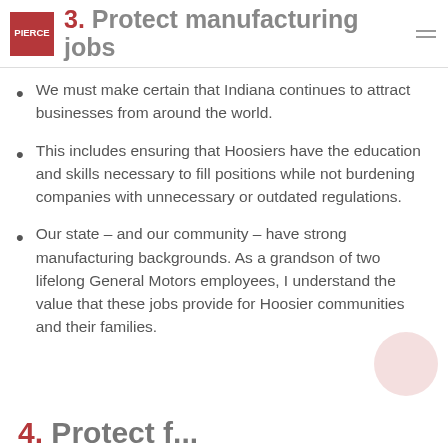3. Protect manufacturing jobs
We must make certain that Indiana continues to attract businesses from around the world.
This includes ensuring that Hoosiers have the education and skills necessary to fill positions while not burdening companies with unnecessary or outdated regulations.
Our state – and our community – have strong manufacturing backgrounds. As a grandson of two lifelong General Motors employees, I understand the value that these jobs provide for Hoosier communities and their families.
4. Protect...